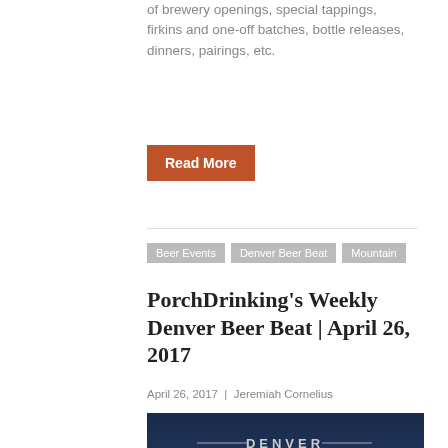of brewery openings, special tappings, firkins and one-off batches, bottle releases, dinners, pairings, etc.
Read More
Beer Events
Denver Beer Beat
Mountain
PorchDrinking's Weekly Denver Beer Beat | April 26, 2017
April 26, 2017 | Jeremiah Cornelius
[Figure (illustration): Denver Beer Beat banner image showing silhouettes of beer bottles against mountains with text 'DENVER BEER BEAT' and a cartoon character holding a beer mug]
The Denver Beer Beat sheds light on news